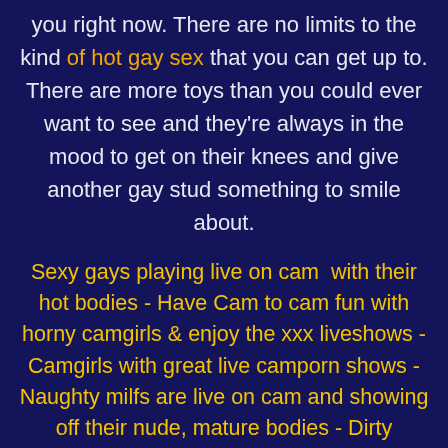you right now. There are no limits to the kind of hot gay sex that you can get up to. There are more toys than you could ever want to see and they're always in the mood to get on their knees and give another gay stud something to smile about.
Sexy gays playing live on cam  with their hot bodies - Have Cam to cam fun with horny camgirls & enjoy the xxx liveshows - Camgirls with great live camporn shows - Naughty milfs are live on cam and showing off their nude, mature bodies - Dirty pleasures with horny livesex loving camgirls - Sexy-CamBoys lets you play with naughty boys who have to hide their love of stiff cock and sticky cum loads - Horny old mature housewives naked live on cam -